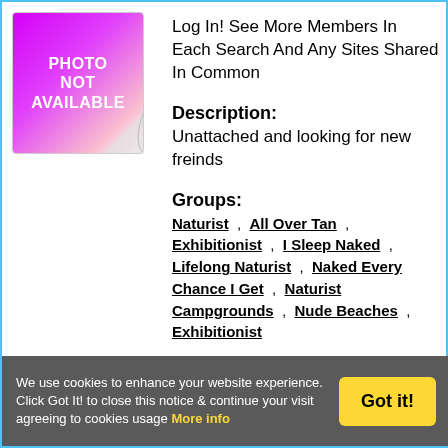[Figure (illustration): Photo Not Available placeholder image with purple/magenta gradient background and curled corner effect, white bold text reading PHOTO NOT AVAILABLE]
Log In! See More Members In Each Search And Any Sites Shared In Common
Description:
Unattached and looking for new freinds
Groups:
Naturist , All Over Tan , Exhibitionist , I Sleep Naked , Lifelong Naturist , Naked Every Chance I Get , Naturist Campgrounds , Nude Beaches , Exhibitionist
We use cookies to enhance your website experience. Click Got It! to close this notice & continue your visit agreeing to cookies usage More info
Got it!